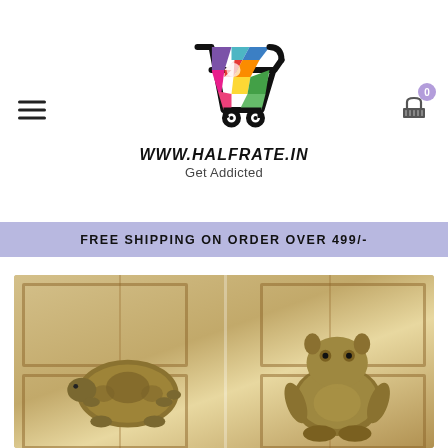[Figure (logo): Halfrate.in shopping cart logo with colorful segments]
WWW.HALFRATE.IN
Get Addicted
FREE SHIPPING ON ORDER OVER 499/-
[Figure (photo): Gold/bronze decorative figurines (tortoise/frog) on a wooden background]